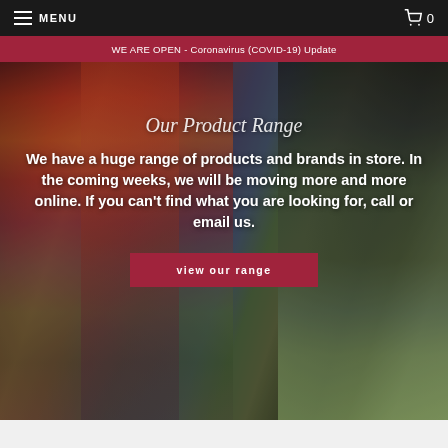MENU  0
WE ARE OPEN - Coronavirus (COVID-19) Update
[Figure (photo): Background photo of colorful embroidery thread skeins in red, orange, green, blue, and other colors arranged on display racks]
Our Product Range
We have a huge range of products and brands in store. In the coming weeks, we will be moving more and more online. If you can't find what you are looking for, call or email us.
view our range